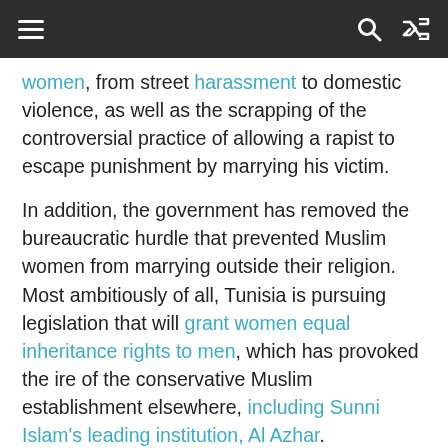≡  🔍  ⇄
women, from street harassment to domestic violence, as well as the scrapping of the controversial practice of allowing a rapist to escape punishment by marrying his victim.
In addition, the government has removed the bureaucratic hurdle that prevented Muslim women from marrying outside their religion. Most ambitiously of all, Tunisia is pursuing legislation that will grant women equal inheritance rights to men, which has provoked the ire of the conservative Muslim establishment elsewhere, including Sunni Islam's leading institution, Al Azhar.
Despite this impressive political, social, cultural and religious progress, Tunisia's economic fortunes have not kept pace, the treasure at the end of Friedman's